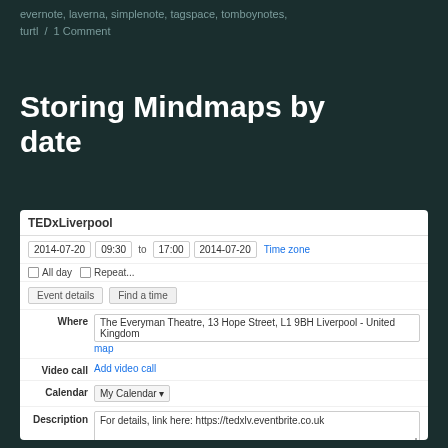evernote, laverna, simplenote, tagspace, tomboynotes, turtl / 1 Comment
Storing Mindmaps by date
[Figure (screenshot): Google Calendar event creation form showing a TEDxLiverpool event on 2014-07-20 from 09:30 to 17:00, with location at The Everyman Theatre, 13 Hope Street, L1 9BH Liverpool - United Kingdom, description linking to https://tedxlv.eventbrite.co.uk, and an attached file TedXLiverpool.mup]